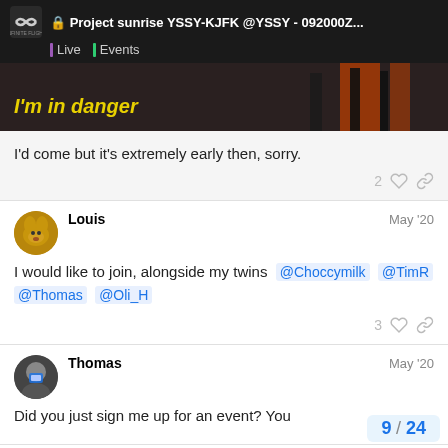Project sunrise YSSY-KJFK @YSSY - 092000Z... | Live | Events
[Figure (screenshot): Screenshot with dark background and orange elements, showing text 'I'm in danger' in yellow-green bold italic text]
I'd come but it's extremely early then, sorry.
Louis  May '20
I would like to join, alongside my twins @Choccymilk @TimR @Thomas @Oli_H
Thomas  May '20
Did you just sign me up for an event? You
9 / 24